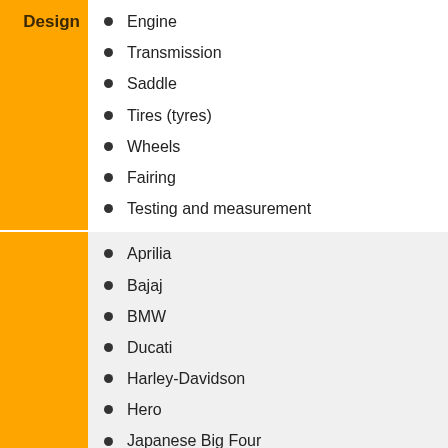Design
Engine
Transmission
Saddle
Tires (tyres)
Wheels
Fairing
Testing and measurement
Aprilia
Bajaj
BMW
Ducati
Harley-Davidson
Hero
Japanese Big Four
Honda
Kawasaki
Suzuki